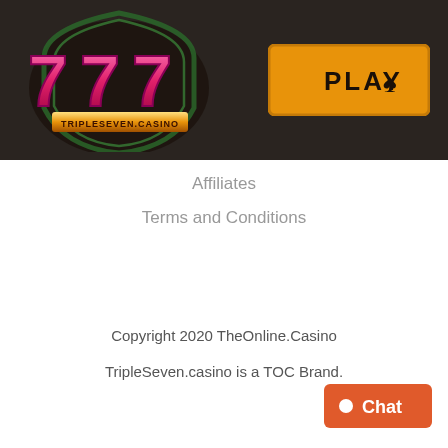[Figure (logo): TripleSeven.Casino 777 logo in pink/magenta metallic style on dark background]
[Figure (other): Orange PLAY button with spade suit symbol]
Affiliates
Terms and Conditions
Copyright 2020 TheOnline.Casino
TripleSeven.casino is a TOC Brand.
[Figure (other): Orange Chat button with circle/dot icon in bottom right corner]